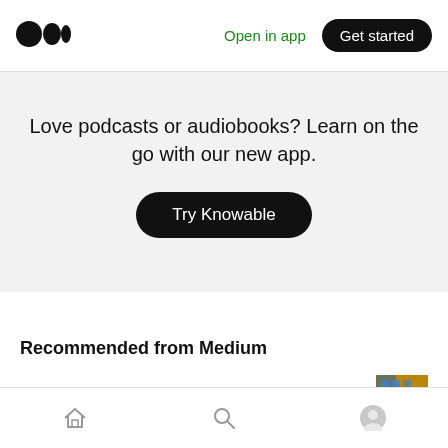[Figure (logo): Medium logo — two overlapping black circles]
Open in app
Get started
Love podcasts or audiobooks? Learn on the go with our new app.
Try Knowable
Recommended from Medium
Kevin Chin in The Groundhog
[Figure (photo): Small thumbnail image of an interior scene with yellow tones]